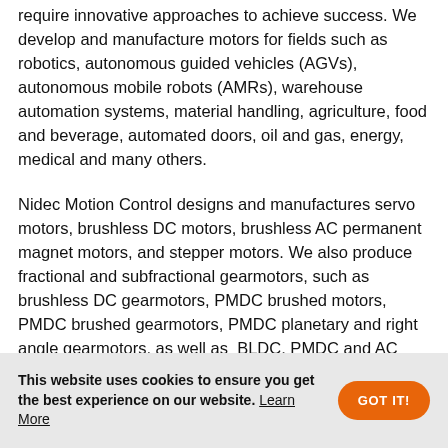require innovative approaches to achieve success. We develop and manufacture motors for fields such as robotics, autonomous guided vehicles (AGVs), autonomous mobile robots (AMRs), warehouse automation systems, material handling, agriculture, food and beverage, automated doors, oil and gas, energy, medical and many others.
Nidec Motion Control designs and manufactures servo motors, brushless DC motors, brushless AC permanent magnet motors, and stepper motors. We also produce fractional and subfractional gearmotors, such as brushless DC gearmotors, PMDC brushed motors, PMDC brushed gearmotors, PMDC planetary and right angle gearmotors, as well as BLDC, PMDC and AC parallel shaft gearmotors. Nidec Motion also designs and produces the corresponding
This website uses cookies to ensure you get the best experience on our website. Learn More